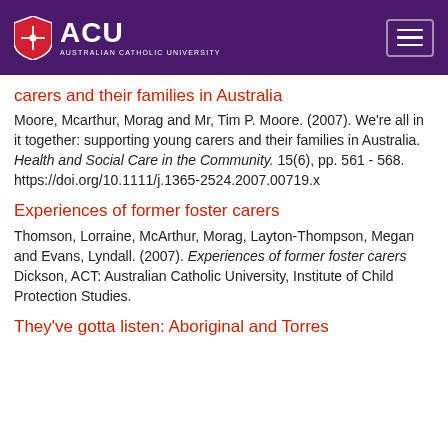ACU AUSTRALIAN CATHOLIC UNIVERSITY
carers and their families in Australia
Moore, Mcarthur, Morag and Mr, Tim P. Moore. (2007). We're all in it together: supporting young carers and their families in Australia. Health and Social Care in the Community. 15(6), pp. 561 - 568. https://doi.org/10.1111/j.1365-2524.2007.00719.x
Experiences of former foster carers
Thomson, Lorraine, McArthur, Morag, Layton-Thompson, Megan and Evans, Lyndall. (2007). Experiences of former foster carers Dickson, ACT: Australian Catholic University, Institute of Child Protection Studies.
They've gotta listen: Aboriginal and Torres